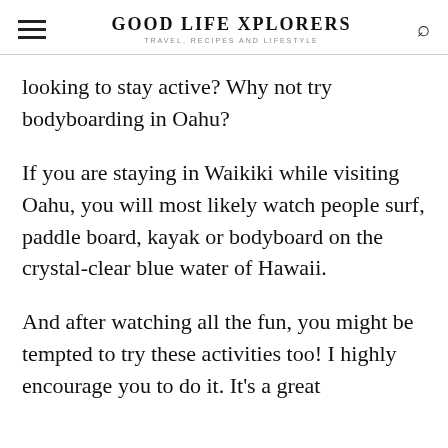GOOD LIFE XPLORERS — TRAVEL, RECIPES AND LIFESTYLE
looking to stay active? Why not try bodyboarding in Oahu?
If you are staying in Waikiki while visiting Oahu, you will most likely watch people surf, paddle board, kayak or bodyboard on the crystal-clear blue water of Hawaii.
And after watching all the fun, you might be tempted to try these activities too! I highly encourage you to do it. It's a great